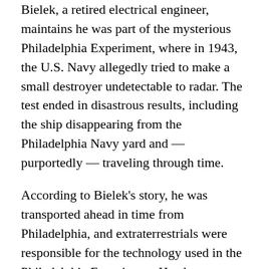Bielek, a retired electrical engineer, maintains he was part of the mysterious Philadelphia Experiment, where in 1943, the U.S. Navy allegedly tried to make a small destroyer undetectable to radar. The test ended in disastrous results, including the ship disappearing from the Philadelphia Navy yard and — purportedly — traveling through time.
According to Bielek's story, he was transported ahead in time from Philadelphia, and extraterrestrials were responsible for the technology used in the Philadelphia Experiment. He also maintains he was recruited in 1970 to work on mind control and time travel projects at the Montauk facility.
Swerdlow's story involves being kidnapped as a teenager from his Long Island, N.Y., home, taken to the Montauk base, and subjected to a variety of experiments.